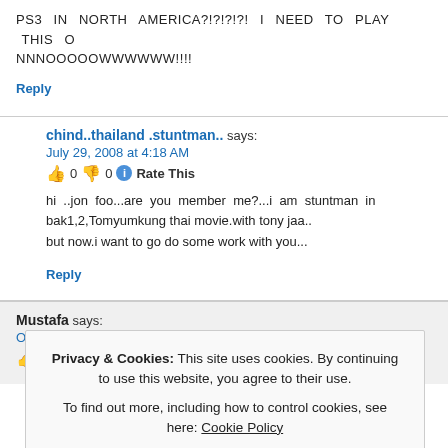PS3 IN NORTH AMERICA?!?!?!?! I NEED TO PLAY THIS NNNOOOOOWWWWWW!!!!
Reply
chind..thailand .stuntman.. says: July 29, 2008 at 4:18 AM
0 0 Rate This
hi ..jon foo...are you member me?...i am stuntman in bak1,2,Tomyumkung thai movie.with tony jaa.. but now.i want to go do some work with you...
Reply
Mustafa says: October 3, 2008 at 4:27 AM
0 0 Rate This
Privacy & Cookies: This site uses cookies. By continuing to use this website, you agree to their use. To find out more, including how to control cookies, see here: Cookie Policy
Close and accept